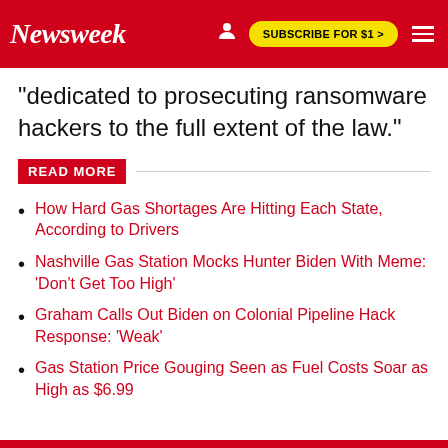Newsweek | SUBSCRIBE FOR $1 >
"dedicated to prosecuting ransomware hackers to the full extent of the law."
READ MORE
How Hard Gas Shortages Are Hitting Each State, According to Drivers
Nashville Gas Station Mocks Hunter Biden With Meme: 'Don't Get Too High'
Graham Calls Out Biden on Colonial Pipeline Hack Response: 'Weak'
Gas Station Price Gouging Seen as Fuel Costs Soar as High as $6.99